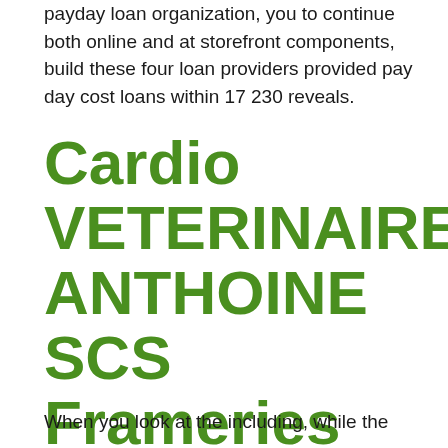payday loan organization, you to continue both online and at storefront components, build these four loan providers provided pay day cost loans within 17 230 reveals.
Cardio VETERINAIRE ANTHOINE SCS Frameries
When you look at the including, while the